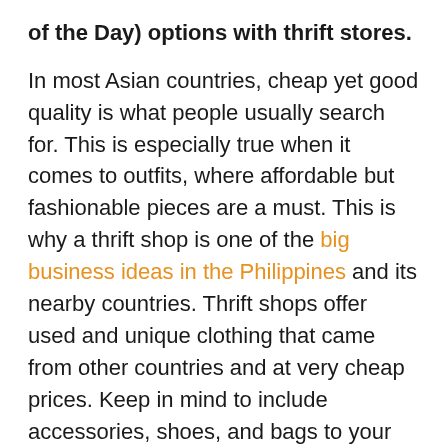of the Day) options with thrift stores.
In most Asian countries, cheap yet good quality is what people usually search for. This is especially true when it comes to outfits, where affordable but fashionable pieces are a must. This is why a thrift shop is one of the big business ideas in the Philippines and its nearby countries. Thrift shops offer used and unique clothing that came from other countries and at very cheap prices. Keep in mind to include accessories, shoes, and bags to your thrift shop to add more variety to your store.
3. Sell the best items online through e-commerce services.
These days, it's easy to sell items online. You can simply log in to your social media account and post details about the items that you want to sell. If you do...